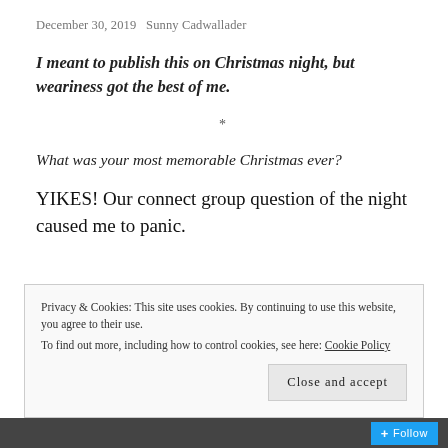December 30, 2019   Sunny Cadwallader
I meant to publish this on Christmas night, but weariness got the best of me.
*
What was your most memorable Christmas ever?
YIKES! Our connect group question of the night caused me to panic.
Privacy & Cookies: This site uses cookies. By continuing to use this website, you agree to their use.
To find out more, including how to control cookies, see here: Cookie Policy
Close and accept